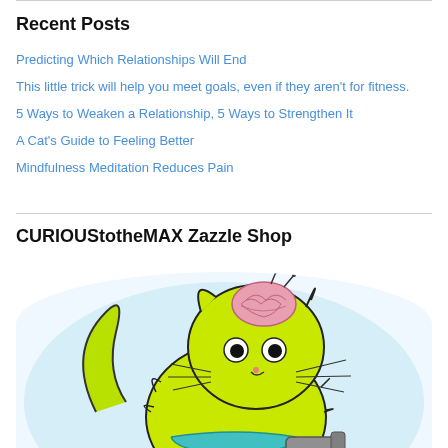Recent Posts
Predicting Which Relationships Will End
This little trick will help you meet goals, even if they aren't for fitness.
5 Ways to Weaken a Relationship, 5 Ways to Strengthen It
A Cat's Guide to Feeling Better
Mindfulness Meditation Reduces Pain
CURIOUStotheMAX Zazzle Shop
[Figure (illustration): Cartoon illustration of a yellow-green fluffy cat with a pink brain exposed on top of its head, large black eyes, long whiskers, and a teal collar, holding a gray object, set against a light blue circular background.]